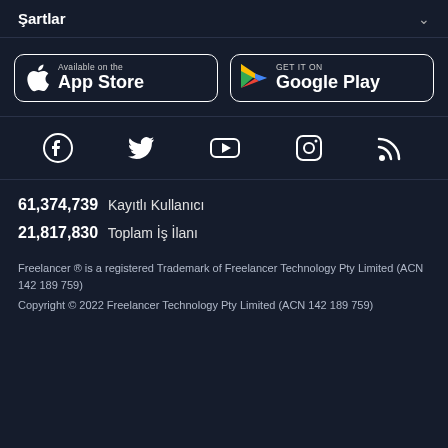Şartlar
[Figure (logo): App Store and Google Play store download buttons]
[Figure (infographic): Social media icons: Facebook, Twitter, YouTube, Instagram, RSS]
61,374,739  Kayıtlı Kullanıcı
21,817,830  Toplam İş İlanı
Freelancer ® is a registered Trademark of Freelancer Technology Pty Limited (ACN 142 189 759)
Copyright © 2022 Freelancer Technology Pty Limited (ACN 142 189 759)